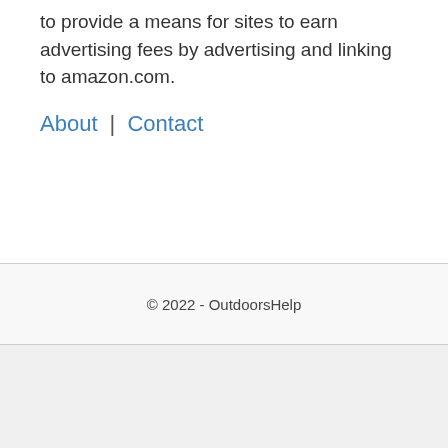to provide a means for sites to earn advertising fees by advertising and linking to amazon.com.
About | Contact
© 2022 - OutdoorsHelp